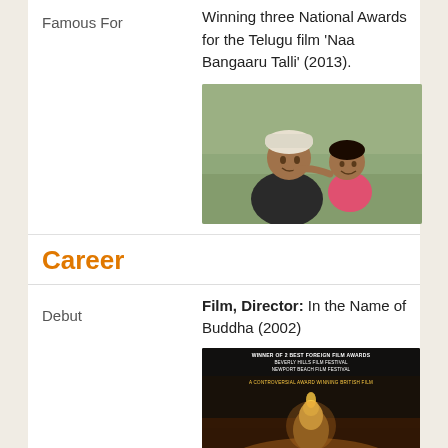Famous For
Winning three National Awards for the Telugu film 'Naa Bangaaru Talli' (2013).
[Figure (photo): A man with a white head wrap and a young girl smiling together outdoors]
Career
Debut
Film, Director: In the Name of Buddha (2002)
[Figure (photo): Movie poster for 'In the Name of Buddha' showing a Buddha statue surrounded by candles and gravestones, with text: WINNER OF 2 BEST FOREIGN FILM AWARDS BEVERLY HILLS FILM FESTIVAL NEWPORT BEACH FILM FESTIVAL - A CONTROVERSIAL AWARD WINNING BRITISH FILM]